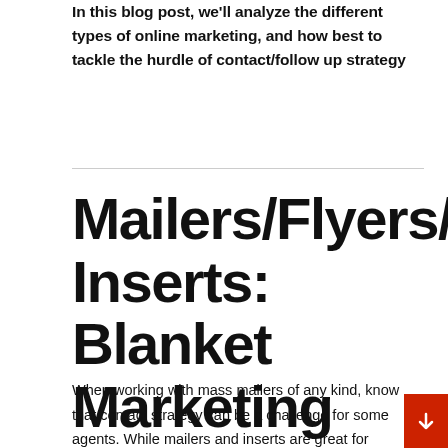In this blog post, we'll analyze the different types of online marketing, and how best to tackle the hurdle of contact/follow up strategy
Mailers/Flyers/Inserts: Blanket Marketing
When working with mass mailers of any kind, know that contact strategy can be a challenge for some agents.  While mailers and inserts are great for